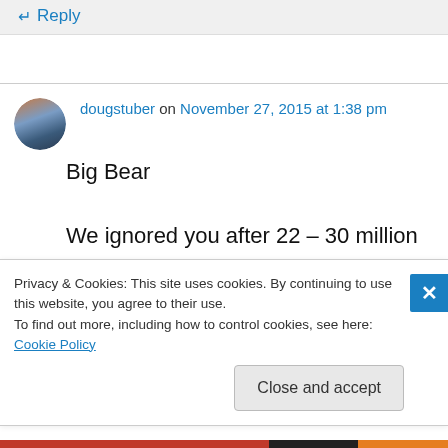↵ Reply
dougstuber on November 27, 2015 at 1:38 pm
Big Bear
We ignored you after 22 – 30 million died in World War II. Favored China, reliably corrupt, into having a Feudal class, but you
Privacy & Cookies: This site uses cookies. By continuing to use this website, you agree to their use.
To find out more, including how to control cookies, see here: Cookie Policy
Close and accept